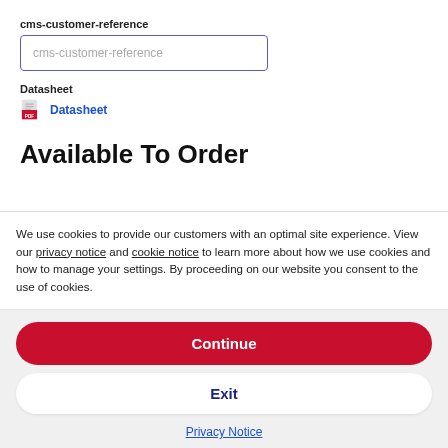cms-customer-reference
[Figure (screenshot): Input field with placeholder text 'cms-customer-reference' and blue border]
Datasheet
[Figure (screenshot): PDF icon with red label followed by blue link text 'Datasheet']
Available To Order
We use cookies to provide our customers with an optimal site experience. View our privacy notice and cookie notice to learn more about how we use cookies and how to manage your settings. By proceeding on our website you consent to the use of cookies.
Continue
Exit
Privacy Notice